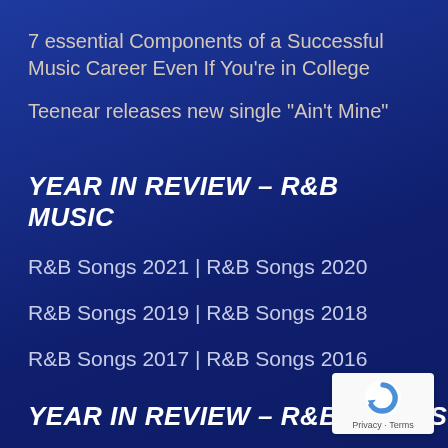7 essential Components of a Successful Music Career Even If You’re in College
Teenear releases new single “Ain’t Mine”
YEAR IN REVIEW – R&B MUSIC
R&B Songs 2021 | R&B Songs 2020
R&B Songs 2019 | R&B Songs 2018
R&B Songs 2017 | R&B Songs 2016
YEAR IN REVIEW – R&B VIDEOS
[Figure (logo): reCAPTCHA badge with Privacy and Terms links]